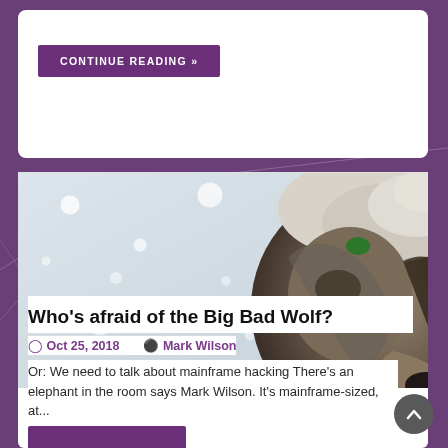CONTINUE READING »
[Figure (photo): A wolf covered in snow, photographed from the side with snowflakes visible in a grey winter background. The wolf has a green ear tag.]
Who's afraid of the Big Bad Wolf?
Oct 25, 2018   Mark Wilson
Or: We need to talk about mainframe hacking There's an elephant in the room says Mark Wilson. It's mainframe-sized, at...